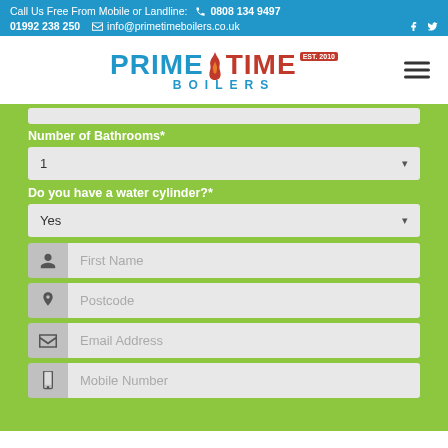Call Us Free From Mobile or Landline: 0808 134 9497 | 01992 238 250 | info@primetimeboilers.co.uk
[Figure (logo): Prime Time Boilers logo with flame graphic, EST. 2010 badge, blue PRIME, red TIME, blue BOILERS text]
Number of Bathrooms*
1 (dropdown)
Do you have a water cylinder?*
Yes (dropdown)
First Name (input field)
Postcode (input field)
Email Address (input field)
Mobile Number (input field, partial)